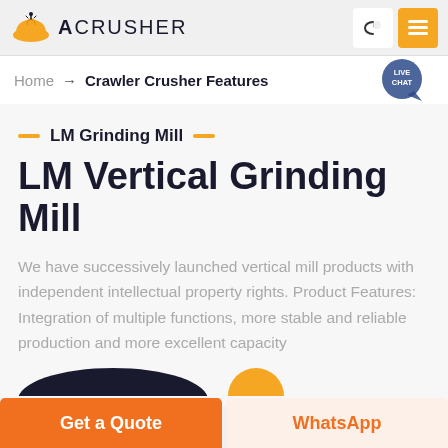ACRUSHER
Home → Crawler Crusher Features
LM Grinding Mill
LM Vertical Grinding Mill
We have successively launched vertical mill products with independent intellectual property rights. Product Features: Integration of multiple functions, more stable and reliable production and more excellent capacity
Get a Quote
WhatsApp